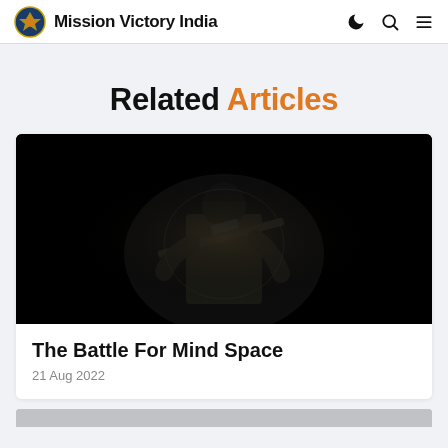Mission Victory India
Related Articles
[Figure (photo): Dark military photo showing a soldier in tactical gear holding a rifle against a black background]
The Battle For Mind Space
21 Aug 2022